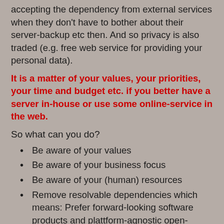accepting the dependency from external services when they don't have to bother about their server-backup etc then. And so privacy is also traded (e.g. free web service for providing your personal data).
It is a matter of your values, your priorities, your time and budget etc. if you better have a server in-house or use some online-service in the web.
So what can you do?
Be aware of your values
Be aware of your business focus
Be aware of your (human) resources
Remove resolvable dependencies which means: Prefer forward-looking software products and plattform-agnostic open-source software over more limited alternatives.
Distribute work and risk (e.g. have an external partner helping you but also have an internal administrator/developer who can do the work).